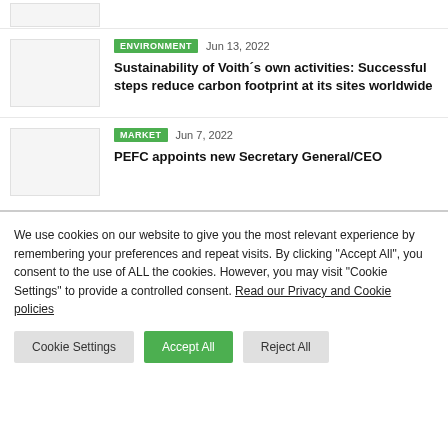[Figure (photo): Thumbnail image placeholder for first news item (partially visible at top)]
[Figure (photo): Thumbnail image placeholder for Environment news item]
ENVIRONMENT  Jun 13, 2022
Sustainability of Voith´s own activities: Successful steps reduce carbon footprint at its sites worldwide
[Figure (photo): Thumbnail image placeholder for Market news item]
MARKET  Jun 7, 2022
PEFC appoints new Secretary General/CEO
We use cookies on our website to give you the most relevant experience by remembering your preferences and repeat visits. By clicking "Accept All", you consent to the use of ALL the cookies. However, you may visit "Cookie Settings" to provide a controlled consent. Read our Privacy and Cookie policies
Cookie Settings | Accept All | Reject All